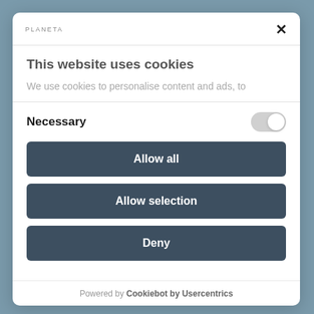PLANETA
This website uses cookies
We use cookies to personalise content and ads, to
Necessary
Allow all
Allow selection
Deny
Powered by Cookiebot by Usercentrics